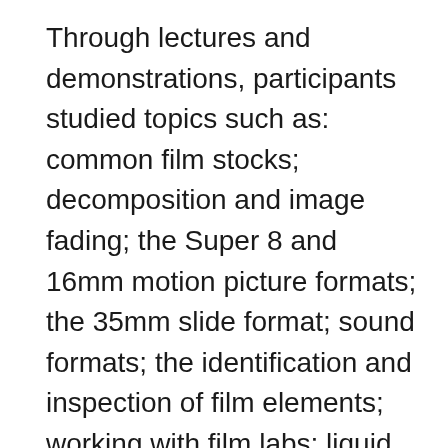Through lectures and demonstrations, participants studied topics such as: common film stocks; decomposition and image fading; the Super 8 and 16mm motion picture formats; the 35mm slide format; sound formats; the identification and inspection of film elements; working with film labs; liquid gate printing and scanning; analog, digital, and hybrid film restoration and QC; film projection and exhibition; Digital Cinema Packages; and strategies for storing digital film data. Case studies and typical workflows will demonstrate the application of these concepts. The workshop included dedicated time for Q&As and discussion among the participants and